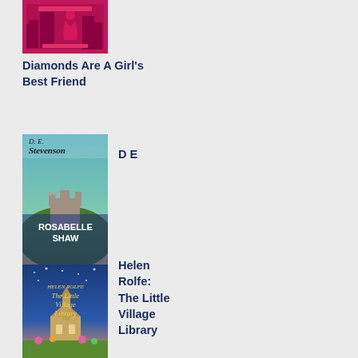[Figure (illustration): Book cover for Diamonds Are A Girl's Best Friend - pink/magenta cover with silhouette figure]
Diamonds Are A Girl's Best Friend
[Figure (illustration): Book cover for Stevenson: Rosabelle Shaw by D.E. Stevenson - teal cover with castle on hill]
D E
Stevenson: Rosabelle Shaw
[Figure (illustration): Book cover for The Little Village Library by Helen Rolfe - blue starry night cover with village church]
Helen Rolfe: The Little Village Library